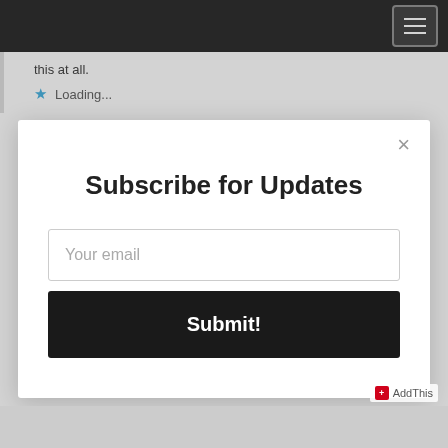Navigation bar with hamburger menu
this at all.
★ Loading...
Subscribe for Updates
Your email
Submit!
AddThis